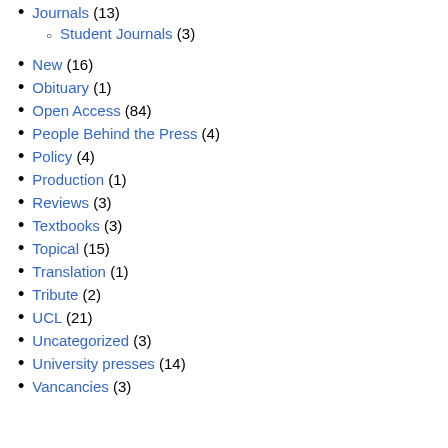Journals (13)
Student Journals (3)
New (16)
Obituary (1)
Open Access (84)
People Behind the Press (4)
Policy (4)
Production (1)
Reviews (3)
Textbooks (3)
Topical (15)
Translation (1)
Tribute (2)
UCL (21)
Uncategorized (3)
University presses (14)
Vancancies (3)